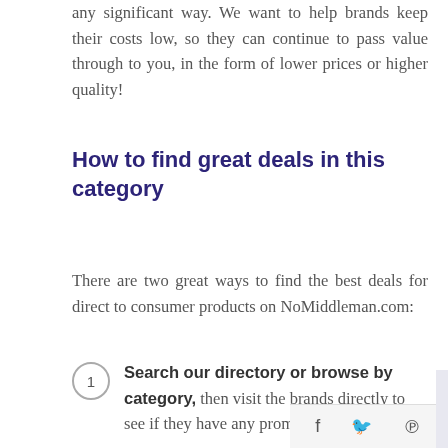any significant way. We want to help brands keep their costs low, so they can continue to pass value through to you, in the form of lower prices or higher quality!
How to find great deals in this category
There are two great ways to find the best deals for direct to consumer products on NoMiddleman.com:
Search our directory or browse by category, then visit the brands directly to see if they have any promotions or sales o[n their websites] & wraps.